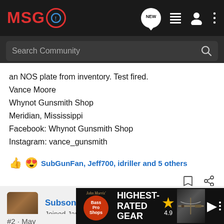MSG - Search Community nav bar
an NOS plate from inventory. Test fired.
Vance Moore
Whynot Gunsmith Shop
Meridian, Mississippi
Facebook: Whynot Gunsmith Shop
Instagram: vance_gunsmith
SubGunFan, Jeff700, idriller and 5 others
Subsonix · Registered 🇺🇸
Joined Jan 12, 2010 · 1,692 Posts
#2 · May
[Figure (screenshot): Bass Pro Shops advertisement banner showing 'HIGHEST-RATED GEAR' with a star rating of 4.9 and product image]